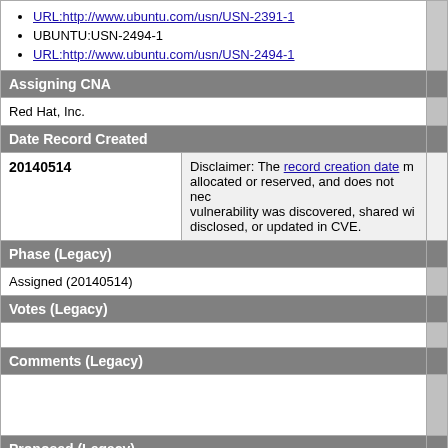URL:http://www.ubuntu.com/usn/USN-2391-1
UBUNTU:USN-2494-1
URL:http://www.ubuntu.com/usn/USN-2494-1
Assigning CNA
Red Hat, Inc.
Date Record Created
20140514
Disclaimer: The record creation date may indicate when the CVE ID was allocated or reserved, and does not necessarily indicate when this vulnerability was discovered, shared with the affected vendor, publicly disclosed, or updated in CVE.
Phase (Legacy)
Assigned (20140514)
Votes (Legacy)
Comments (Legacy)
Proposed (Legacy)
N/A
This is a record on the CVE List, which provides common identifiers for m...